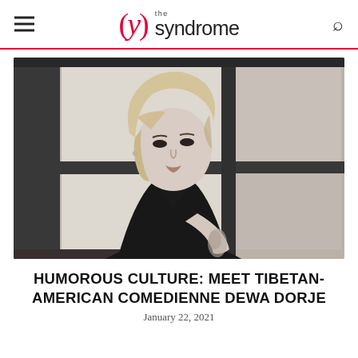(y) the syndrome
[Figure (photo): Black and white portrait photo of Dewa Dorje, a Tibetan-American comedienne with blonde hair, wearing a black top, showing a tattoo on her forearm, posing against a windowed background.]
HUMOROUS CULTURE: MEET TIBETAN-AMERICAN COMEDIENNE DEWA DORJE
January 22, 2021